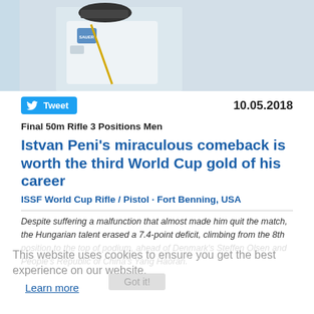[Figure (photo): Photo of a shooter in white clothing with equipment at a rifle shooting range, with a monopod/rifle stand visible on the right. Light blue/grey background.]
Tweet
10.05.2018
Final 50m Rifle 3 Positions Men
Istvan Peni's miraculous comeback is worth the third World Cup gold of his career
ISSF World Cup Rifle / Pistol · Fort Benning, USA
Despite suffering a malfunction that almost made him quit the match, the Hungarian talent erased a 7.4-point deficit, climbing from the 8th position to the top of podium, ahead of Denmark's Steffen Olsen and People's Republic of China's Yang Haoran.
This website uses cookies to ensure you get the best experience on our website.
Learn more
"A miraculous comeback."
That's how Hungary's Istvan Peni defined the way he climbed back from the 8th to the 1st position in the men's 50m Rifle 3 Positions final in Fort Benning (USA). The 21-year-old shooter, in fact, suffered a serious malfunction in his rifle during the opening kneeling position — which he closed in last place 5.4 points away from the leader. A gap that increased to 7.4 during the following prone position.